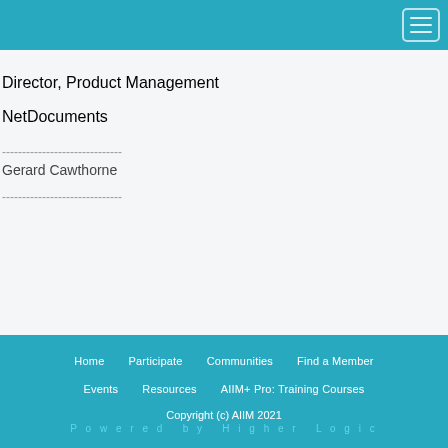Director, Product Management
NetDocuments
------------------------------
Gerard Cawthorne
------------------------------
Home   Participate   Communities   Find a Member   Events   Resources   AIIM+ Pro: Training Courses   Copyright (c) AIIM 2021   Powered by Higher Logic